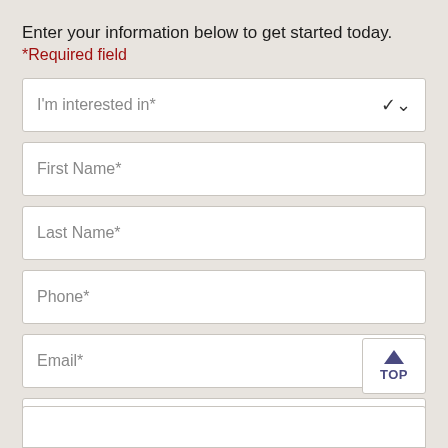Enter your information below to get started today.
*Required field
I'm interested in*
First Name*
Last Name*
Phone*
Email*
Address*